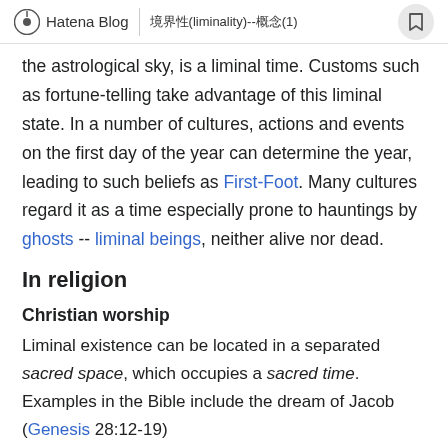Hatena Blog | 境界性(liminality)--概念(1)
the astrological sky, is a liminal time. Customs such as fortune-telling take advantage of this liminal state. In a number of cultures, actions and events on the first day of the year can determine the year, leading to such beliefs as First-Foot. Many cultures regard it as a time especially prone to hauntings by ghosts -- liminal beings, neither alive nor dead.
In religion
Christian worship
Liminal existence can be located in a separated sacred space, which occupies a sacred time. Examples in the Bible include the dream of Jacob (Genesis 28:12-19)